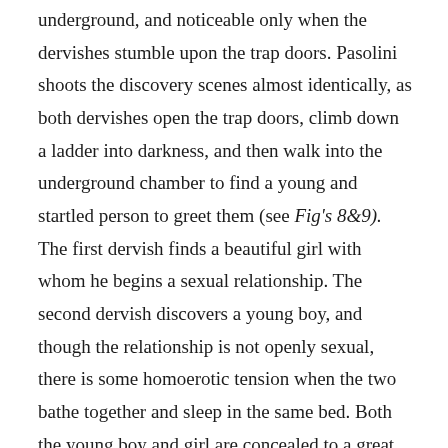underground, and noticeable only when the dervishes stumble upon the trap doors. Pasolini shoots the discovery scenes almost identically, as both dervishes open the trap doors, climb down a ladder into darkness, and then walk into the underground chamber to find a young and startled person to greet them (see Fig's 8&9). The first dervish finds a beautiful girl with whom he begins a sexual relationship. The second dervish discovers a young boy, and though the relationship is not openly sexual, there is some homoerotic tension when the two bathe together and sleep in the same bed. Both the young boy and girl are concealed to a great degree, as the young boy is in hiding to avoid a curse, and the girl is held captive by her 'ifrit (spirit similar to a jinn) husband. However, Pasolini challenges the Eden-esque natures of these underground